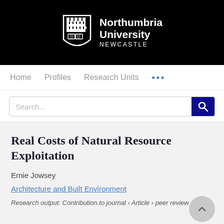[Figure (logo): Northumbria University Newcastle logo — white shield crest on black background with text 'Northumbria University NEWCASTLE' in white]
Home   Profiles   Research Units   ...
Search...
Real Costs of Natural Resource Exploitation
Ernie Jowsey
Architecture and Built Environment
Research output: Contribution to journal › Article › peer review